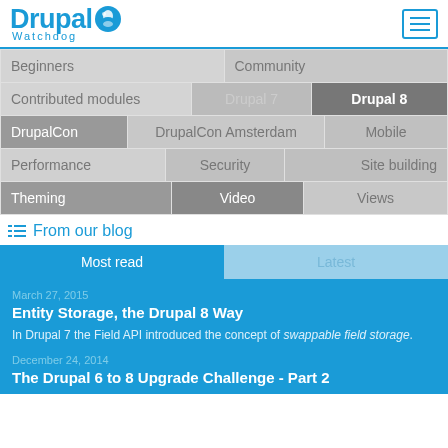Drupal Watchdog
Beginners
Community
Contributed modules
Drupal 7
Drupal 8
DrupalCon
DrupalCon Amsterdam
Mobile
Performance
Security
Site building
Theming
Video
Views
From our blog
Most read
Latest
March 27, 2015
Entity Storage, the Drupal 8 Way
In Drupal 7 the Field API introduced the concept of swappable field storage.
December 24, 2014
The Drupal 6 to 8 Upgrade Challenge - Part 2